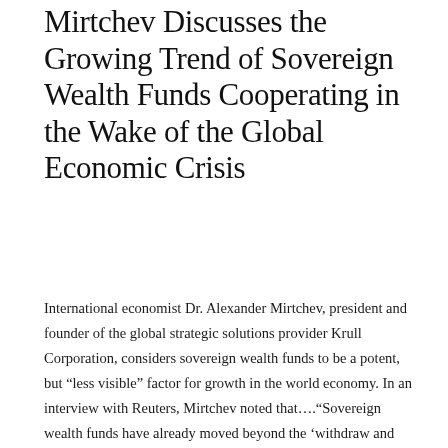Mirtchev Discusses the Growing Trend of Sovereign Wealth Funds Cooperating in the Wake of the Global Economic Crisis
International economist Dr. Alexander Mirtchev, president and founder of the global strategic solutions provider Krull Corporation, considers sovereign wealth funds to be a potent, but “less visible” factor for growth in the world economy. In an interview with Reuters, Mirtchev noted that….“Sovereign wealth funds have already moved beyond the ‘withdraw and regroup’ stage brought about by the crisis, not to mention the time of the ‘glamour investment’ that is now over, as they face the need to prioritize their portfolios and focus on new areas of growth, which underlies the